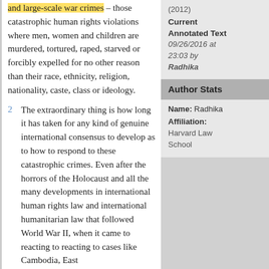and large-scale war crimes – those catastrophic human rights violations where men, women and children are murdered, tortured, raped, starved or forcibly expelled for no other reason than their race, ethnicity, religion, nationality, caste, class or ideology.
2  The extraordinary thing is how long it has taken for any kind of genuine international consensus to develop as to how to respond to these catastrophic crimes. Even after the horrors of the Holocaust and all the many developments in international human rights law and international humanitarian law that followed World War II, when it came to reacting to reacting to cases like Cambodia, East
(2012)
Current Annotated Text 09/26/2016 at 23:03 by Radhika
Author Stats
Name: Radhika
Affiliation: Harvard Law School